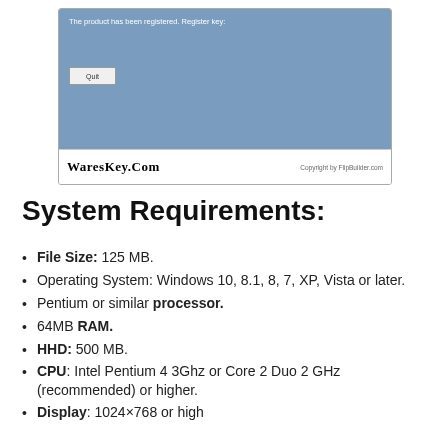[Figure (screenshot): Screenshot of a software registration dialog with blue background, a Quit button, and footer showing 'WaresKey.Com' and 'Copyright by FlipBuilder.com']
System Requirements:
File Size: 125 MB.
Operating System: Windows 10, 8.1, 8, 7, XP, Vista or later.
Pentium or similar processor.
64MB RAM.
HHD: 500 MB.
CPU: Intel Pentium 4 3Ghz or Core 2 Duo 2 GHz (recommended) or higher.
Display: 1024×768 or high